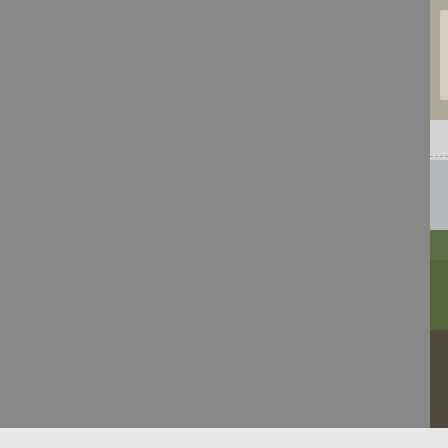[Figure (photo): Photo of people at a railway control/signaling event, Photo ID 364929]
Photo ID: 364929
Location: C
Locomotive:
Train ID: U
Photo Date
Subscribe ·
[Figure (photo): 58018 headed freight train passing Didcot Power Station area with coal wagons on a main line, Photo ID 355913]
Photo ID: 355913
58018 hea... Didcot Pow...
Railroad: B
Locomotive:
Location: C
Locomotive:
Train ID: U
Photo Date
Subscribe ·
[Figure (photo): 58032 heading a train on a main line, black and white photo]
58032 hea... Taken on D...
[Figure (logo): infolinks logo badge]
[Figure (photo): Advertisement banner: Fanatics/Pressbox offer. Fanatics isn't just our name. dedicated to our favorite teams and to the sports we love. www.fanatics.com]